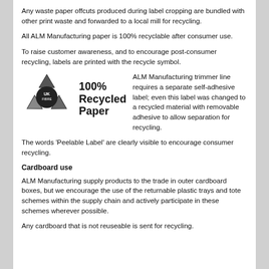Any waste paper offcuts produced during label cropping are bundled with other print waste and forwarded to a local mill for recycling.
All ALM Manufacturing paper is 100% recyclable after consumer use.
To raise customer awareness, and to encourage post-consumer recycling, labels are printed with the recycle symbol.
[Figure (logo): UK Fibre recycled paper logo with recycle arrows symbol and text '100% Recycled Paper']
ALM Manufacturing trimmer line requires a separate self-adhesive label; even this label was changed to a recycled material with removable adhesive to allow separation for recycling.
The words 'Peelable Label' are clearly visible to encourage consumer recycling.
Cardboard use
ALM Manufacturing supply products to the trade in outer cardboard boxes, but we encourage the use of the returnable plastic trays and tote schemes within the supply chain and actively participate in these schemes wherever possible.
Any cardboard that is not reuseable is sent for recycling.